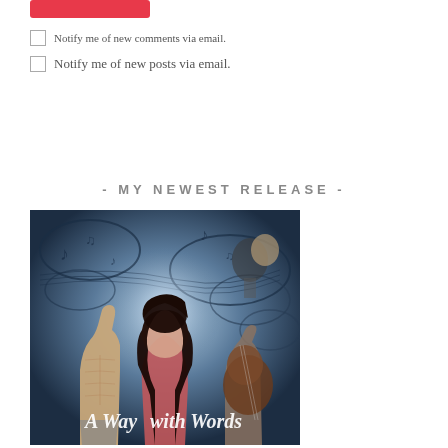[Figure (other): Red/pink submit button at top, partially visible]
Notify me of new comments via email.
Notify me of new posts via email.
- MY NEWEST RELEASE -
[Figure (illustration): Book cover for 'A Way with Words' showing a woman with long dark hair, a shirtless man, a guitarist, and musical notes on a blue/purple swirling background]